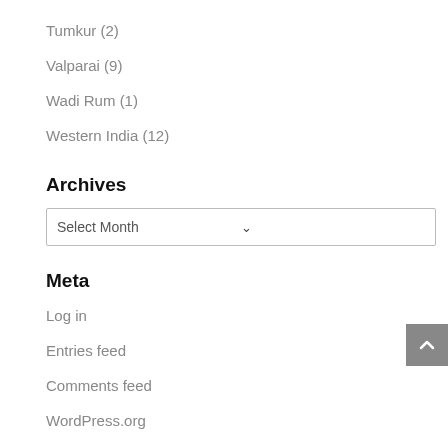Tumkur (2)
Valparai (9)
Wadi Rum (1)
Western India (12)
Archives
Select Month
Meta
Log in
Entries feed
Comments feed
WordPress.org